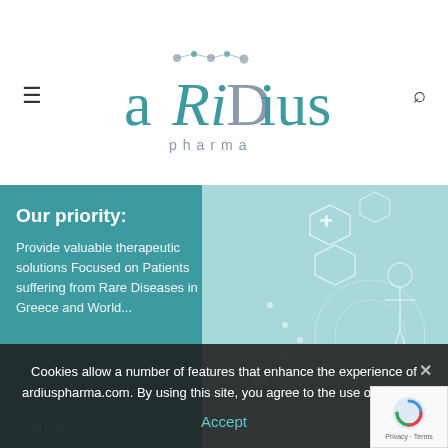[Figure (logo): arRiDius pharma logo — stylized teal and gray lettering with molecular dot connectors]
[Figure (photo): Hero section: teal left panel with white text about the company priority, and right panel showing a medical/biotech illustration with DNA, hexagonal icons, and a human figure]
Our priority:
Provide valuable therapeutic solutions Focused on Patients suffering from Rare Diseases in Greece and World...
Learn more
Cookies allow a number of features that enhance the experience of ardiuspharma.com. By using this site, you agree to the use of cookies.
Accept